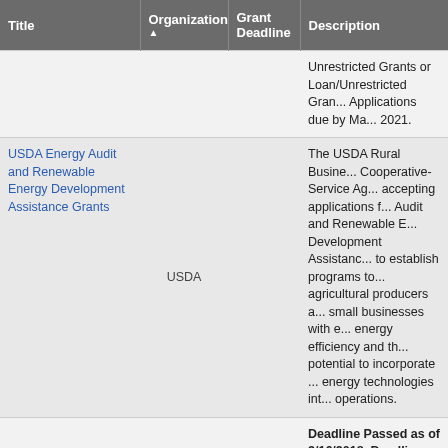| Title | Organization ▲ | Grant Deadline | Description |
| --- | --- | --- | --- |
|  |  |  | Unrestricted Grants or Loan/Unrestricted Grant Applications due by Ma... 2021. |
| USDA Energy Audit and Renewable Energy Development Assistance Grants | USDA |  | The USDA Rural Busine... Cooperative-Service Ag... accepting applications f... Audit and Renewable E... Development Assistanc... to establish programs to... agricultural producers a... small businesses with e... energy efficiency and th... potential to incorporate ... energy technologies int... operations. |
|  |  |  | Deadline Passed as of 3/16/2018. Deadline Un... for 2019. The Environm... Quality Incentives Prog... (EQIP)... |